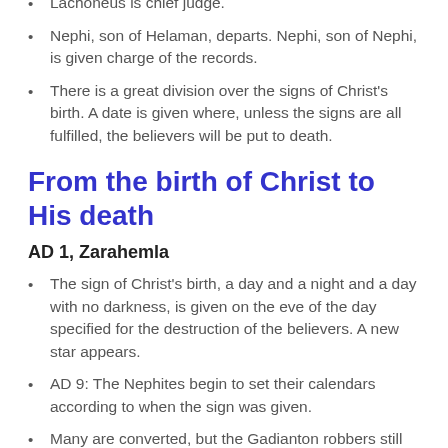Lachoneus is chief judge.
Nephi, son of Helaman, departs. Nephi, son of Nephi, is given charge of the records.
There is a great division over the signs of Christ's birth. A date is given where, unless the signs are all fulfilled, the believers will be put to death.
From the birth of Christ to His death
AD 1, Zarahemla
The sign of Christ's birth, a day and a night and a day with no darkness, is given on the eve of the day specified for the destruction of the believers. A new star appears.
AD 9: The Nephites begin to set their calendars according to when the sign was given.
Many are converted, but the Gadianton robbers still thrive.